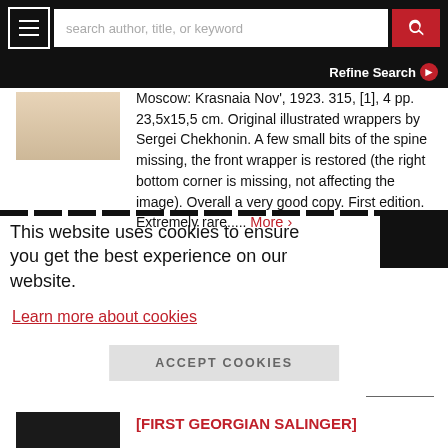search author, title, or keyword | Refine Search
Moscow: Krasnaia Nov', 1923. 315, [1], 4 pp. 23,5x15,5 cm. Original illustrated wrappers by Sergei Chekhonin. A few small bits of the spine missing, the front wrapper is restored (the right bottom corner is missing, not affecting the image). Overall a very good copy. First edition. Extremely rare..... More >
This website uses cookies to ensure you get the best experience on our website.
Learn more about cookies
ACCEPT COOKIES
[FIRST GEORGIAN SALINGER]